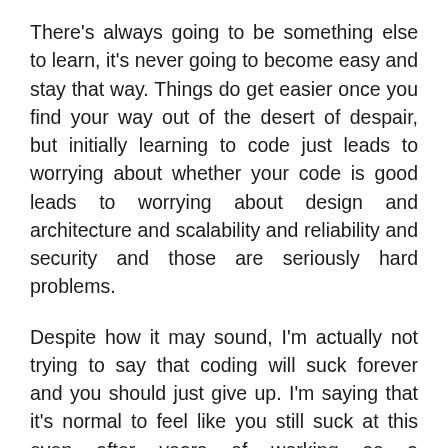There's always going to be something else to learn, it's never going to become easy and stay that way. Things do get easier once you find your way out of the desert of despair, but initially learning to code just leads to worrying about whether your code is good leads to worrying about design and architecture and scalability and reliability and security and those are seriously hard problems.
Despite how it may sound, I'm actually not trying to say that coding will suck forever and you should just give up. I'm saying that it's normal to feel like you still suck at this even after years of working as a programmer. You don't actually suck, it's just normal to feel that way. What's really happening is you've levelled up. When you do that you see the problems that used to give you trouble as too simple to count and focus on the stuff you aren't